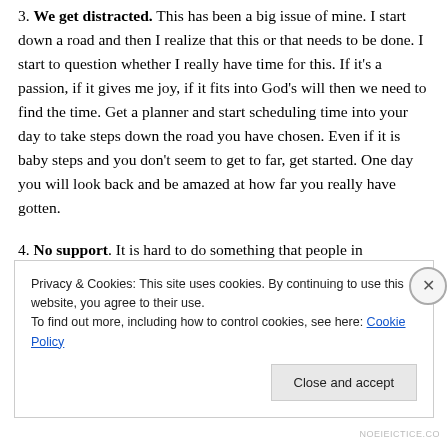3. We get distracted. This has been a big issue of mine. I start down a road and then I realize that this or that needs to be done. I start to question whether I really have time for this. If it's a passion, if it gives me joy, if it fits into God's will then we need to find the time. Get a planner and start scheduling time into your day to take steps down the road you have chosen. Even if it is baby steps and you don't seem to get to far, get started. One day you will look back and be amazed at how far you really have gotten.
4. No support. It is hard to do something that people in your life don't agree with. It is never easy to go against
Privacy & Cookies: This site uses cookies. By continuing to use this website, you agree to their use.
To find out more, including how to control cookies, see here: Cookie Policy
Close and accept
NOEIEICTICE.CO